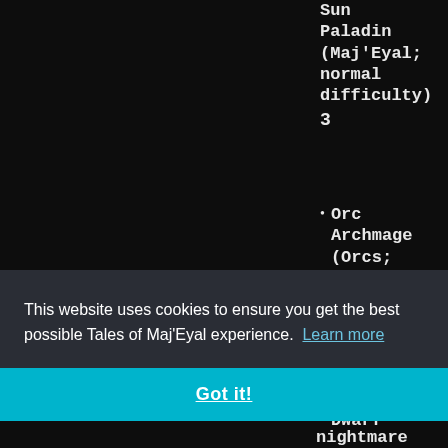Sun Paladin (Maj'Eyal; normal difficulty) 3
Orc Archmage (Orcs; normal difficulty) 3
Dwarf St...
This website uses cookies to ensure you get the best possible Tales of Maj'Eyal experience. Learn more
Got it!
nightmare